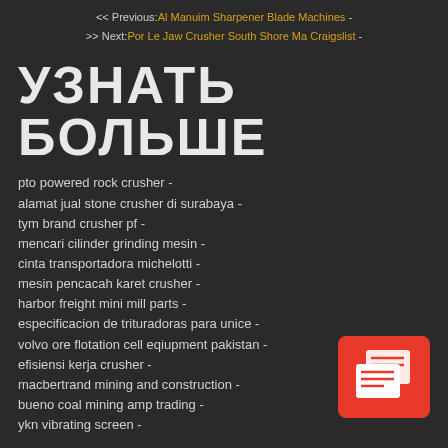<< Previous:Al Manuim Sharpener Blade Machines -
>> Next:Por Le Jaw Crusher South Shore Ma Craigslist -
УЗНАТЬ БОЛЬШЕ
pto powered rock crusher -
alamat jual stone crusher di surabaya -
tym brand crusher pf -
mencari cilinder grinding mesin -
cinta transportadora michelotti -
mesin pencacah karet crusher -
harbor freight mini mill parts -
especificacion de trituradoras para unice -
volvo ore flotation cell eqiupment pakistan -
efisiensi kerja crusher -
macbertrand mining and construction -
bueno coal mining amp trading -
ykn vibrating screen -
[Figure (illustration): Red square icon with two overlapping speech/document bubbles in white]